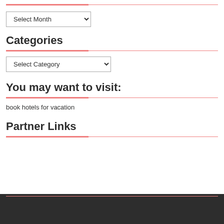[Figure (other): Horizontal divider with pink/salmon left segment and thin line extending right]
[Figure (other): Select Month dropdown widget]
Categories
[Figure (other): Horizontal divider with pink/salmon left segment and thin line extending right]
[Figure (other): Select Category dropdown widget]
You may want to visit:
[Figure (other): Horizontal divider with pink/salmon left segment and thin line extending right]
book hotels for vacation
Partner Links
[Figure (other): Horizontal divider with pink/salmon left segment and thin line extending right]